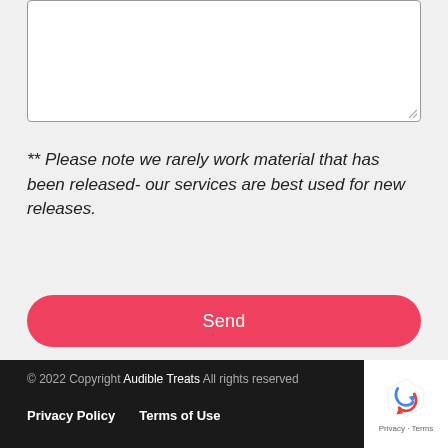[Figure (other): Text area input box, empty, with resize handle]
** Please note we rarely work material that has been released- our services are best used for new releases.
Send
© 2022 Copyright Audible Treats All rights reserved
Privacy Policy   Terms of Use